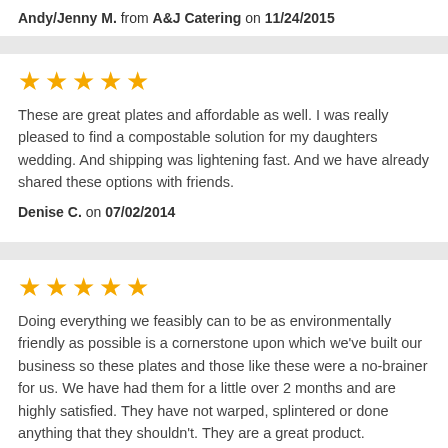Andy/Jenny M. from A&J Catering on 11/24/2015
★★★★★
These are great plates and affordable as well. I was really pleased to find a compostable solution for my daughters wedding. And shipping was lightening fast. And we have already shared these options with friends.
Denise C. on 07/02/2014
★★★★★
Doing everything we feasibly can to be as environmentally friendly as possible is a cornerstone upon which we've built our business so these plates and those like these were a no-brainer for us. We have had them for a little over 2 months and are highly satisfied. They have not warped, splintered or done anything that they shouldn't. They are a great product.